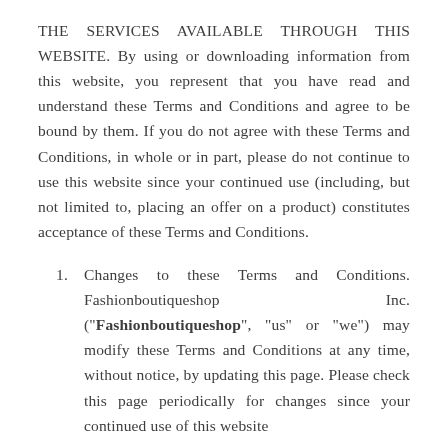THE SERVICES AVAILABLE THROUGH THIS WEBSITE. By using or downloading information from this website, you represent that you have read and understand these Terms and Conditions and agree to be bound by them. If you do not agree with these Terms and Conditions, in whole or in part, please do not continue to use this website since your continued use (including, but not limited to, placing an offer on a product) constitutes acceptance of these Terms and Conditions.
Changes to these Terms and Conditions. Fashionboutiqueshop Inc. ("Fashionboutiqueshop", "us" or "we") may modify these Terms and Conditions at any time, without notice, by updating this page. Please check this page periodically for changes since your continued use of this website